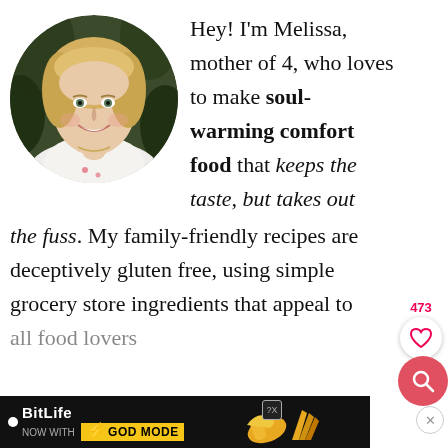[Figure (photo): Circular portrait photo of a smiling blonde woman named Melissa, wearing a white top with small floral details, outdoors with a dark green background.]
Hey! I'm Melissa, mother of 4, who loves to make soul-warming comfort food that keeps the taste, but takes out the fuss. My family-friendly recipes are deceptively gluten free, using simple grocery store ingredients that appeal to all food lovers
[Figure (screenshot): UI overlay showing a heart/like button with count 473, and a red search button circle.]
[Figure (screenshot): BitLife advertisement banner: 'NOW WITH GOD MODE' with hand emoji graphics and close buttons.]